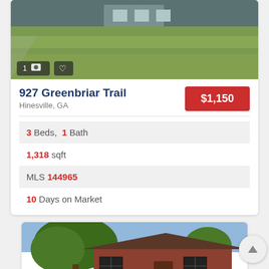[Figure (photo): Exterior photo of house at 927 Greenbriar Trail showing green lawn and front of house, with photo count overlay showing '1' and camera icon, and heart/favorite icon]
927 Greenbriar Trail
Hinesville, GA
$1,150
3 Beds, 1 Bath
1,318 sqft
MLS 144965
10 Days on Market
[Figure (photo): Exterior photo of brick house with large trees in front, partially visible at bottom of page]